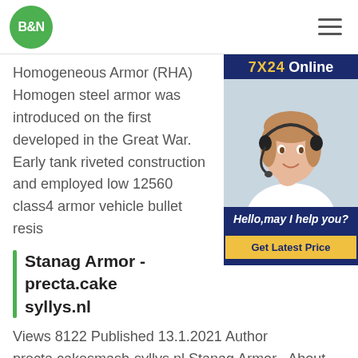B&N
[Figure (photo): Customer service representative with headset — advertisement panel with '7X24 Online', 'Hello,may I help you?' text and 'Get Latest Price' button]
Homogeneous Armor (RHA) Homogen steel armor was introduced on the first developed in the Great War. Early tank riveted construction and employed low 12560 class4 armor vehicle bullet resis
Stanag Armor - precta.cake syllys.nl
Views 8122 Published 13.1.2021 Author precta.cakesmash-syllys.nl Stanag Armor . About Armor Stanag Stanag Armor - precta.cakesmash-syllys.nlViews 8122 Published 13.1.2021 Author